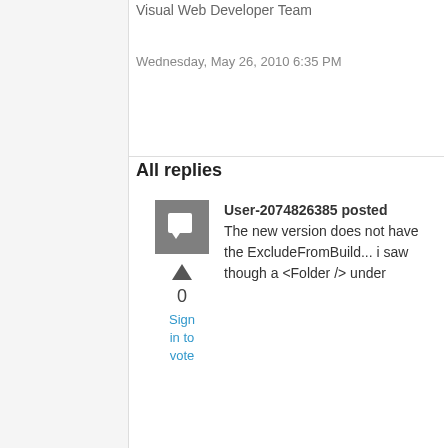Visual Web Developer Team
Wednesday, May 26, 2010 6:35 PM
All replies
[Figure (illustration): Grey avatar icon with a chat bubble symbol, vote up arrow, vote count 0, and Sign in to vote link]
User-2074826385 posted The new version does not have the ExcludeFromBuild... i saw though a <Folder /> under